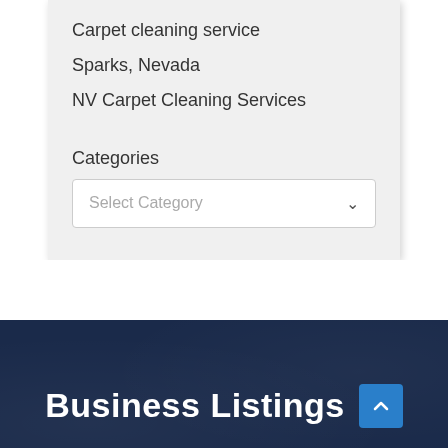Carpet cleaning service
Sparks, Nevada
NV Carpet Cleaning Services
Categories
Select Category
Business Listings